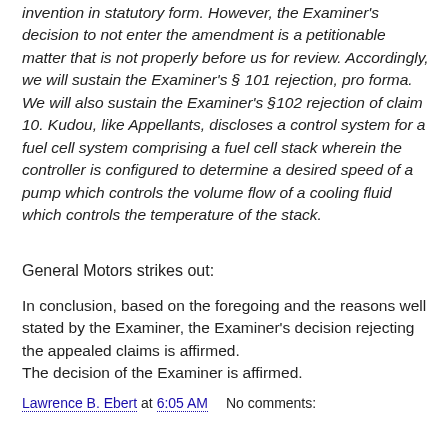invention in statutory form. However, the Examiner's decision to not enter the amendment is a petitionable matter that is not properly before us for review. Accordingly, we will sustain the Examiner's § 101 rejection, pro forma. We will also sustain the Examiner's §102 rejection of claim 10. Kudou, like Appellants, discloses a control system for a fuel cell system comprising a fuel cell stack wherein the controller is configured to determine a desired speed of a pump which controls the volume flow of a cooling fluid which controls the temperature of the stack.
General Motors strikes out:
In conclusion, based on the foregoing and the reasons well stated by the Examiner, the Examiner's decision rejecting the appealed claims is affirmed.
The decision of the Examiner is affirmed.
Lawrence B. Ebert at 6:05 AM   No comments: